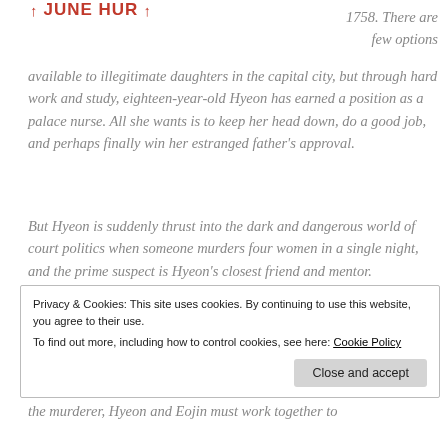JUNE HUR
1758. There are few options available to illegitimate daughters in the capital city, but through hard work and study, eighteen-year-old Hyeon has earned a position as a palace nurse. All she wants is to keep her head down, do a good job, and perhaps finally win her estranged father's approval.
But Hyeon is suddenly thrust into the dark and dangerous world of court politics when someone murders four women in a single night, and the prime suspect is Hyeon's closest friend and mentor. Determined to prove her beloved teacher's innocence, Hyeon launches her own
Privacy & Cookies: This site uses cookies. By continuing to use this website, you agree to their use.
To find out more, including how to control cookies, see here: Cookie Policy
Close and accept
the murderer, Hyeon and Eojin must work together to